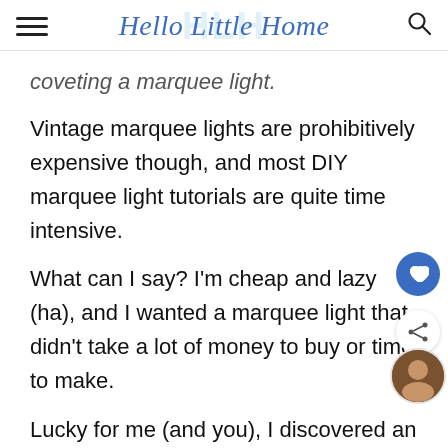Hello Little Home
coveting a marquee light.
Vintage marquee lights are prohibitively expensive though, and most DIY marquee light tutorials are quite time intensive.
What can I say? I'm cheap and lazy (ha), and I wanted a marquee light that didn't take a lot of money to buy or time to make.
Lucky for me (and you), I discovered an